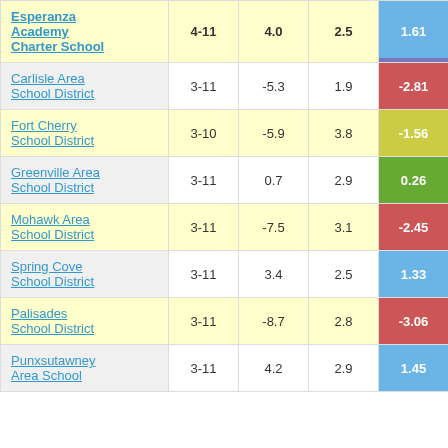| School/District | Grades | Col3 | Col4 | Col5 |
| --- | --- | --- | --- | --- |
| Esperanza Academy Charter School | 4-11 | 4.0 | 2.5 | 1.61 |
| Carlisle Area School District | 3-11 | -5.3 | 1.9 | -2.81 |
| Fort Cherry School District | 3-10 | -5.9 | 3.8 | -1.56 |
| Greenville Area School District | 3-11 | 0.7 | 2.9 | 0.26 |
| Mohawk Area School District | 3-11 | -7.5 | 3.1 | -2.45 |
| Spring Cove School District | 3-11 | 3.4 | 2.5 | 1.33 |
| Palisades School District | 3-11 | -8.7 | 2.8 | -3.06 |
| Punxsutawney Area School | 3-11 | 4.2 | 2.9 | 1.45 |